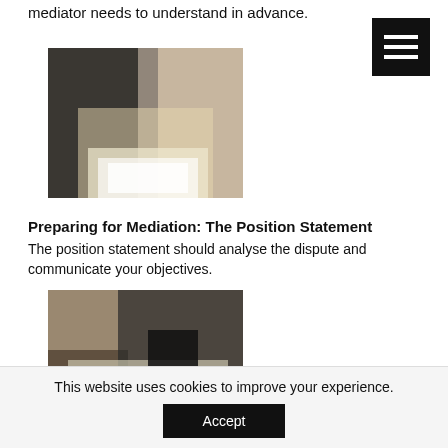mediator needs to understand in advance.
[Figure (photo): Two people in business attire signing documents at a table]
Preparing for Mediation: The Position Statement
The position statement should analyse the dispute and communicate your objectives.
[Figure (photo): Overhead view of people at a meeting table with documents, a phone, and a wallet]
This website uses cookies to improve your experience.